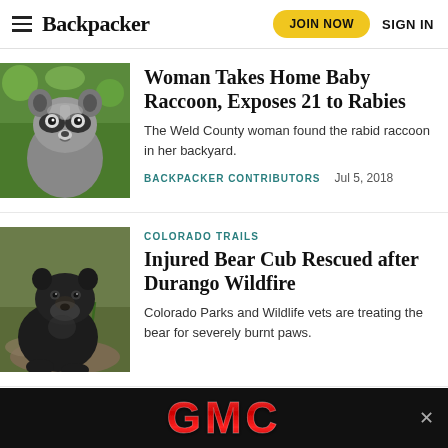Backpacker | JOIN NOW | SIGN IN
[Figure (photo): Close-up photo of a raccoon facing the camera, green foliage background]
Woman Takes Home Baby Raccoon, Exposes 21 to Rabies
The Weld County woman found the rabid raccoon in her backyard.
BACKPACKER CONTRIBUTORS   Jul 5, 2018
COLORADO TRAILS
[Figure (photo): Photo of a black bear cub walking on rocky ground with grass]
Injured Bear Cub Rescued after Durango Wildfire
Colorado Parks and Wildlife vets are treating the bear for severely burnt paws.
[Figure (other): GMC advertisement banner with red GMC logo on black background]